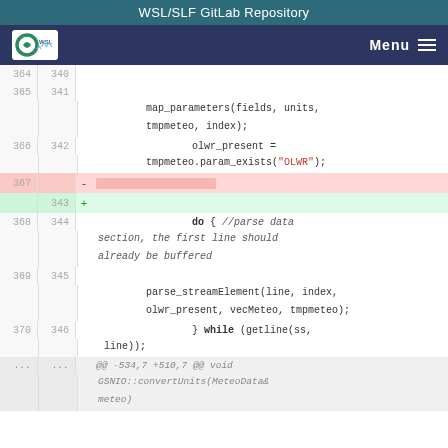WSL/SLF GitLab Repository
[Figure (screenshot): WSL/SLF logo in nav bar with Menu hamburger icon]
Code diff view showing lines 364-370 and lines 340-346 with additions and removals. Line 366/342: olwr_present = tmpmeteo.param_exists("OLWR"); Line 367 removed. Line 343 added (empty). Line 368/344: do { //parse data section, the first line should already be buffered. Line 369/345: parse_streamElement(line, index, olwr_present, vecMeteo, tmpmeteo); Line 370/346: } while (getline(ss, line)); Hunk header: @@ -534,7 +510,7 @@ void GSNIO::convertUnits(MeteoData& meteo)